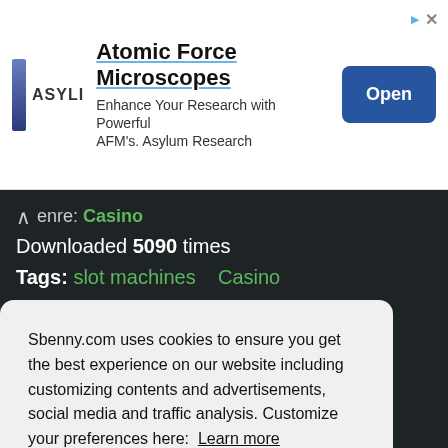[Figure (screenshot): Advertisement banner for Asylum Research Atomic Force Microscopes with logo, text, and Open button]
Genre: Casino
Downloaded 5090 times
Tags: slot machines    Casino
Sbenny.com uses cookies to ensure you get the best experience on our website including customizing contents and advertisements, social media and traffic analysis. Customize your preferences here:  Learn more
Got it!